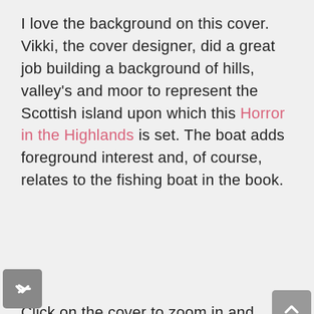I love the background on this cover. Vikki, the cover designer, did a great job building a background of hills, valley's and moor to represent the Scottish island upon which this Horror in the Highlands is set. The boat adds foreground interest and, of course, relates to the fishing boat in the book.
Click on the cover to zoom in and see the details.